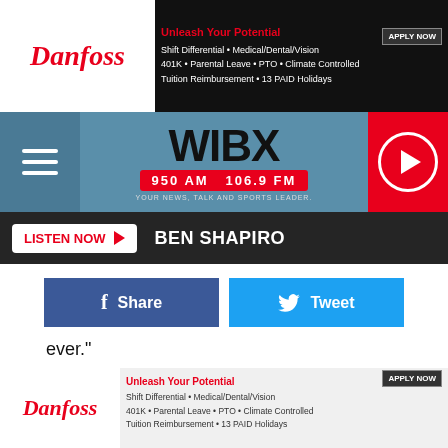[Figure (screenshot): Danfoss advertisement banner: Unleash Your Potential - Shift Differential, Medical/Dental/Vision, 401K, Parental Leave, PTO, Climate Controlled, Tuition Reimbursement, 13 PAID Holidays. Apply Now button.]
[Figure (screenshot): WIBX 950 AM 106.9 FM radio station navigation bar with hamburger menu, logo, and play button]
[Figure (screenshot): Listen Now button with Ben Shapiro text]
[Figure (screenshot): Facebook Share and Twitter Tweet social buttons]
ever."
A Go Fund Me Page has been established to raise $10,000 for the business.
Mazzaferro's has been served Rome since 1915.
[Figure (screenshot): Danfoss advertisement banner at bottom: Unleash Your Potential - Shift Differential, Medical/Dental/Vision, 401K, Parental Leave, PTO, Climate Controlled, Tuition Reimbursement, 13 PAID Holidays. Apply Now button.]